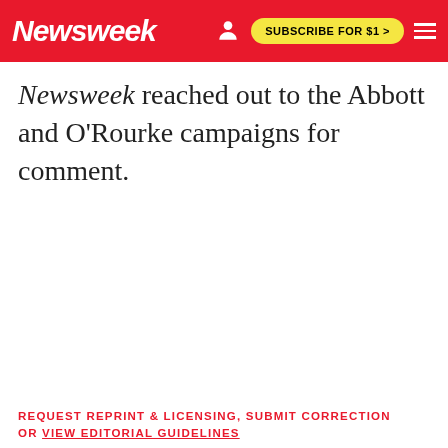Newsweek | SUBSCRIBE FOR $1 >
Newsweek reached out to the Abbott and O'Rourke campaigns for comment.
REQUEST REPRINT & LICENSING, SUBMIT CORRECTION OR VIEW EDITORIAL GUIDELINES